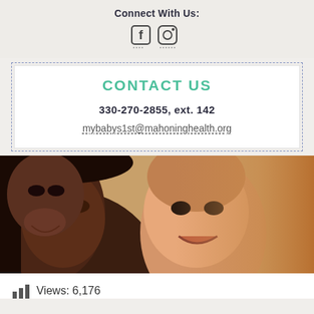Connect With Us:
[Figure (other): Social media icons: Facebook and Instagram]
CONTACT US
330-270-2855, ext. 142
mybabys1st@mahoninghealth.org
[Figure (photo): Photo of a smiling woman and laughing baby with warm orange gradient on the right side]
Views: 6,176